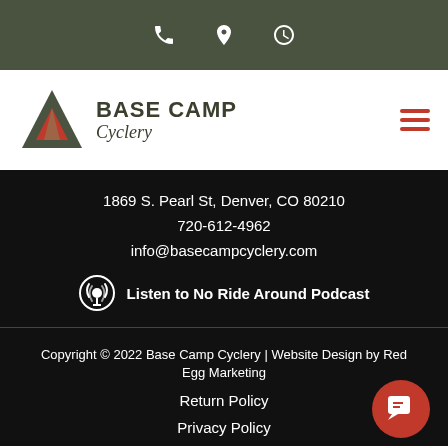[Figure (other): Dark olive green top bar with phone, location pin, and clock icons in white]
[Figure (logo): Base Camp Cyclery logo with mountain/tent triangle icon in green and orange, company name in dark green]
1869 S. Pearl St, Denver, CO 80210
720-612-4962
info@basecampcyclery.com
Listen to No Ride Around Podcast
Copyright © 2022 Base Camp Cyclery | Website Design by Red Egg Marketing
Return Policy
Privacy Policy